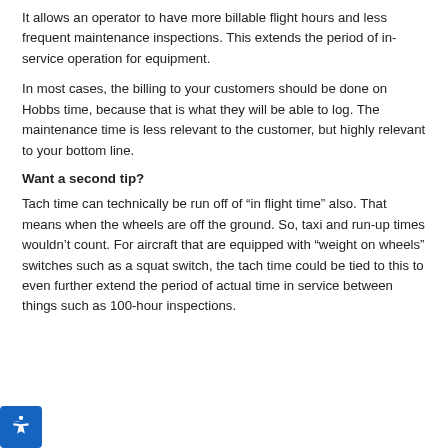It allows an operator to have more billable flight hours and less frequent maintenance inspections. This extends the period of in-service operation for equipment.
In most cases, the billing to your customers should be done on Hobbs time, because that is what they will be able to log. The maintenance time is less relevant to the customer, but highly relevant to your bottom line.
Want a second tip?
Tach time can technically be run off of “in flight time” also. That means when the wheels are off the ground. So, taxi and run-up times wouldn’t count. For aircraft that are equipped with “weight on wheels” switches such as a squat switch, the tach time could be tied to this to even further extend the period of actual time in service between things such as 100-hour inspections.